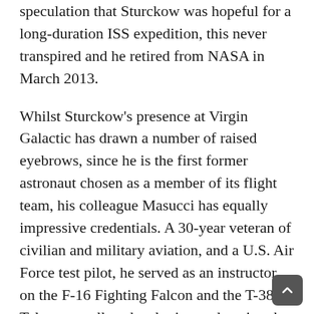speculation that Sturckow was hopeful for a long-duration ISS expedition, this never transpired and he retired from NASA in March 2013.
Whilst Sturckow's presence at Virgin Galactic has drawn a number of raised eyebrows, since he is the first former astronaut chosen as a member of its flight team, his colleague Masucci has equally impressive credentials. A 30-year veteran of civilian and military aviation, and a U.S. Air Force test pilot, he served as an instructor on the F-16 Fighting Falcon and the T-38 Talon, as well as developing and testing the U-2's glass cockpit and power upgrade programs. "I am pleased to have these two incredibly accomplished pilots join us during this important time as we embark on a series of important rocket-powered flight tests